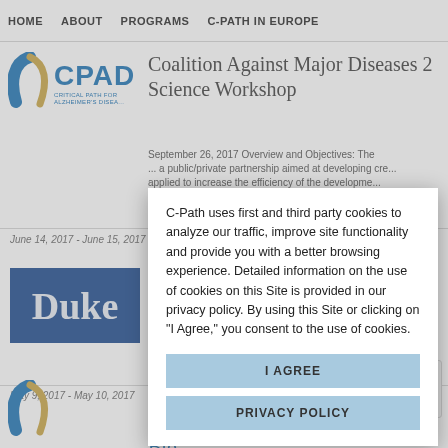HOME   ABOUT   PROGRAMS   C-PATH IN EUROPE
[Figure (logo): CPAD Critical Path for Alzheimer's Disease logo with blue arc graphic]
Coalition Against Major Diseases 2017 Science Workshop
September 26, 2017 Overview and Objectives: The ... a public/private partnership aimed at developing cre... applied to increase the efficiency of the developme... disease (AD) and related dementias. The annual m...
June 14, 2017 - June 15, 2017
[Figure (logo): Duke University logo - blue rectangle with white Duke text]
Public Workshop: Scientific and Regulatory Considerations for Analytical Validation of Assays Used in Biological Matrices
May 9, 2017 - May 10, 2017
Advancing CDISC Standards for Bio...
C-Path uses first and third party cookies to analyze our traffic, improve site functionality and provide you with a better browsing experience. Detailed information on the use of cookies on this Site is provided in our privacy policy. By using this Site or clicking on "I Agree," you consent to the use of cookies.
I AGREE
PRIVACY POLICY